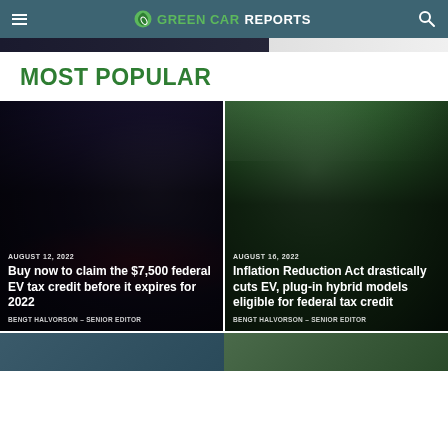GREEN CAR REPORTS
MOST POPULAR
[Figure (photo): Article card with dark car photo – AUGUST 12, 2022 – Buy now to claim the $7,500 federal EV tax credit before it expires for 2022 – BENGT HALVORSON – SENIOR EDITOR]
[Figure (photo): Article card with green outdoor car photo – AUGUST 16, 2022 – Inflation Reduction Act drastically cuts EV, plug-in hybrid models eligible for federal tax credit – BENGT HALVORSON – SENIOR EDITOR]